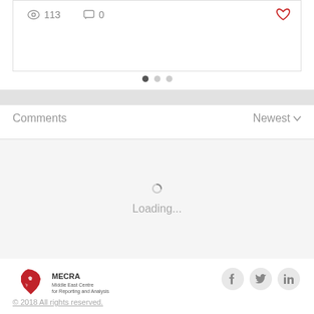[Figure (screenshot): Partial view of a web page card showing view count 113 and comment count 0 with a heart icon, pagination dots, comments section header with Newest dropdown, a loading spinner and Loading... text, MECRA logo footer with social icons (Facebook, Twitter, LinkedIn), and copyright notice.]
113
0
Comments
Newest
Loading...
[Figure (logo): MECRA logo - Middle East Centre for Reporting and Analysis - red map shape with text]
© 2018 All rights reserved.